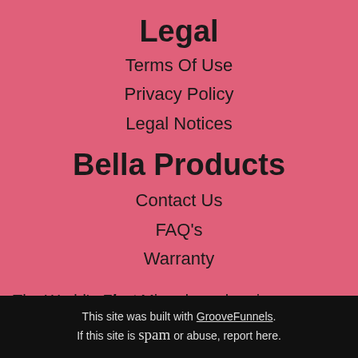Legal
Terms Of Use
Privacy Policy
Legal Notices
Bella Products
Contact Us
FAQ's
Warranty
The World's First Microdermabrasion Products!
The World's Best Microdermabrasion Products!
This site was built with GrooveFunnels. If this site is spam or abuse, report here.